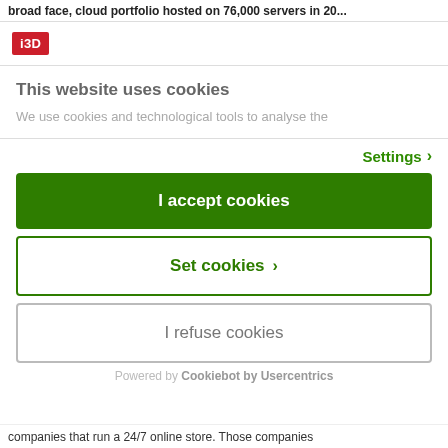broad face, cloud portfolio hosted on 76,000 servers in 20...
[Figure (logo): i3D logo — red rectangle with white bold text 'i3D']
This website uses cookies
We use cookies and technological tools to analyse the
Settings ›
I accept cookies
Set cookies ›
I refuse cookies
Powered by Cookiebot by Usercentrics
companies that run a 24/7 online store. Those companies